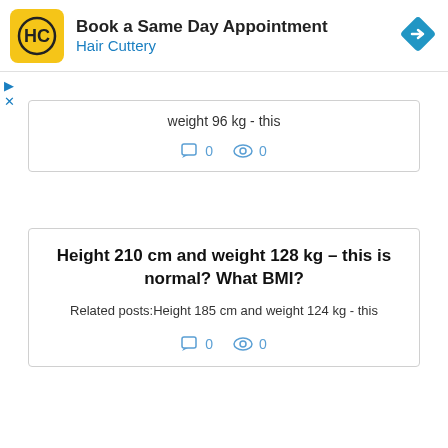[Figure (other): Hair Cuttery advertisement banner: 'Book a Same Day Appointment' with Hair Cuttery logo and blue diamond arrow icon]
weight 96 kg - this
0  0
Height 210 cm and weight 128 kg – this is normal? What BMI?
Related posts:Height 185 cm and weight 124 kg - this
0  0